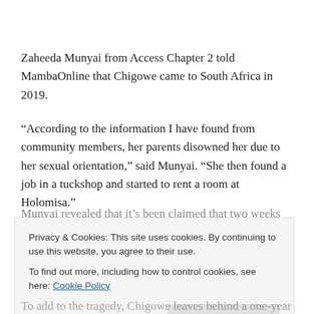Zaheeda Munyai from Access Chapter 2 told MambaOnline that Chigowe came to South Africa in 2019.
“According to the information I have found from community members, her parents disowned her due to her sexual orientation,” said Munyai. “She then found a job in a tuckshop and started to rent a room at Holomisa.”
Munyai revealed that it’s been claimed that two weeks...
To add to the tragedy, Chigowe leaves behind a one-year...
Privacy & Cookies: This site uses cookies. By continuing to use this website, you agree to their use.
To find out more, including how to control cookies, see here: Cookie Policy